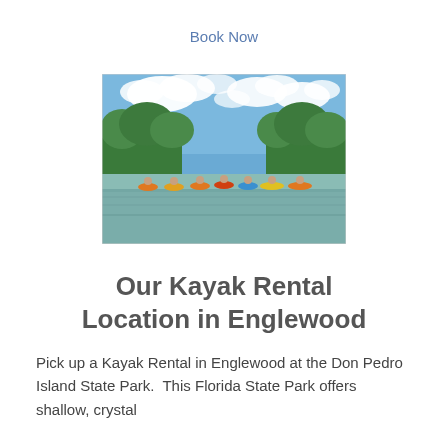Book Now
[Figure (photo): Group of kayakers paddling in a calm river surrounded by lush green trees under a blue sky with white clouds]
Our Kayak Rental Location in Englewood
Pick up a Kayak Rental in Englewood at the Don Pedro Island State Park.  This Florida State Park offers shallow, crystal